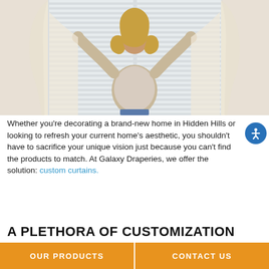[Figure (photo): Woman with curly blonde hair seen from behind, arms raised and spread open drawing apart light sheer curtains on a window with white shutters/blinds, wearing a white lace top and jeans]
Whether you’re decorating a brand-new home in Hidden Hills or looking to refresh your current home’s aesthetic, you shouldn’t have to sacrifice your unique vision just because you can’t find the products to match. At Galaxy Draperies, we offer the solution: custom curtains.
A PLETHORA OF CUSTOMIZATION
OUR PRODUCTS   CONTACT US